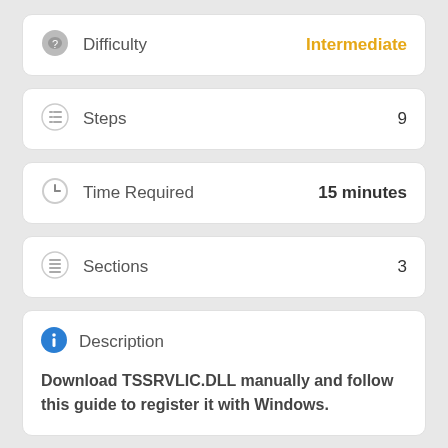Difficulty — Intermediate
Steps — 9
Time Required — 15 minutes
Sections — 3
Description
Download TSSRVLIC.DLL manually and follow this guide to register it with Windows.
Step 1: Find the